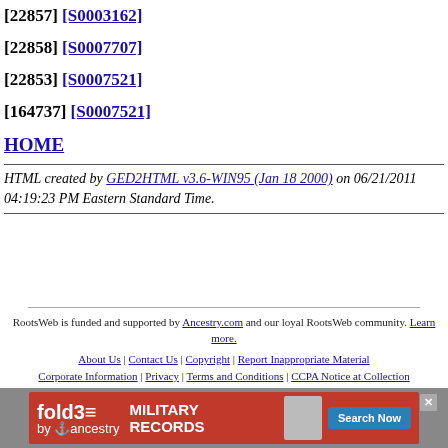[22857] [S0003162]
[22858] [S0007707]
[22853] [S0007521]
[164737] [S0007521]
HOME
HTML created by GED2HTML v3.6-WIN95 (Jan 18 2000) on 06/21/2011 04:19:23 PM Eastern Standard Time.
RootsWeb is funded and supported by Ancestry.com and our loyal RootsWeb community. Learn more. | About Us | Contact Us | Copyright | Report Inappropriate Material | Corporate Information | Privacy | Terms and Conditions | CCPA Notice at Collection
[Figure (infographic): fold3 Military Records advertisement banner with Search Now button]